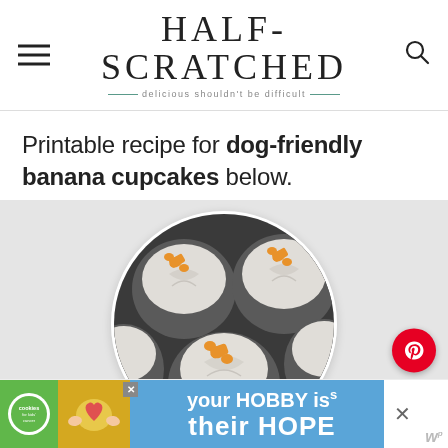HALF-SCRATCHED — delicious shouldn't be difficult
Printable recipe for dog-friendly banana cupcakes below.
[Figure (photo): Circular photo of dog-friendly banana cupcakes in a dark muffin tin with white paper liners, topped with orange/yellow dog bone-shaped treats]
[Figure (logo): Pinterest red circular button with white P logo]
DOG-FRIENDLY
[Figure (photo): Advertisement banner: Cookies for Kids' Cancer with heart cookie image and text 'your HOBBY is their HOPE']